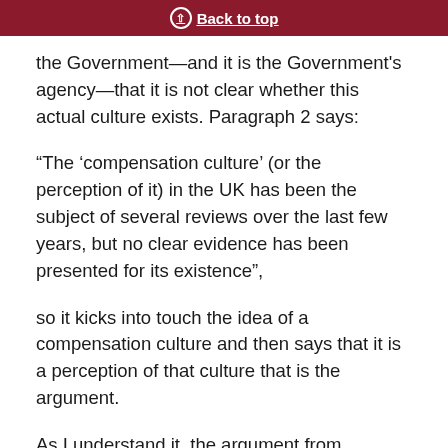Back to top
the Government—and it is the Government's agency—that it is not clear whether this actual culture exists. Paragraph 2 says:
“The ‘compensation culture’ (or the perception of it) in the UK has been the subject of several reviews over the last few years, but no clear evidence has been presented for its existence”,
so it kicks into touch the idea of a compensation culture and then says that it is a perception of that culture that is the argument.
As I understand it, the argument from Professor Löfstedt, which the Government have adopted, is, first, that even if there is not a compensation culture there is a perception among some employers out